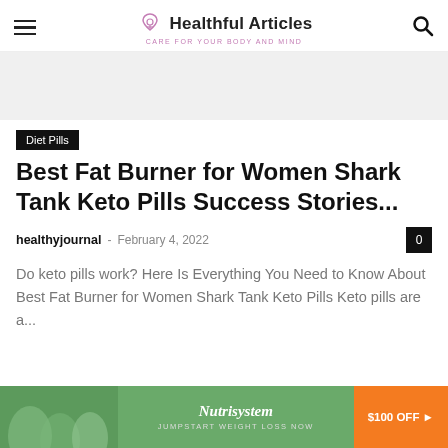Healthful Articles — CARE FOR YOUR BODY AND MIND
[Figure (logo): Healthful Articles logo with heart and figure icon, tagline: CARE FOR YOUR BODY AND MIND]
Diet Pills
Best Fat Burner for Women Shark Tank Keto Pills Success Stories...
healthyjournal - February 4, 2022
Do keto pills work? Here Is Everything You Need to Know About Best Fat Burner for Women Shark Tank Keto Pills Keto pills are a...
[Figure (infographic): Nutrisystem advertisement banner: JUMPSTART WEIGHT LOSS NOW $100 OFF]